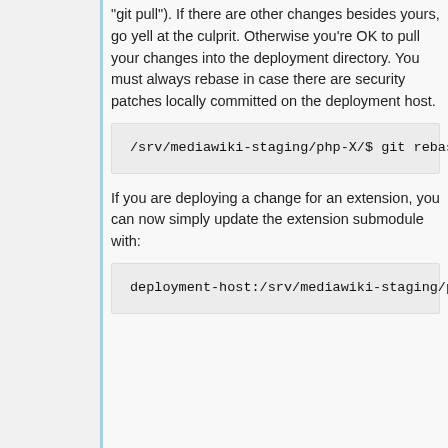"git pull"). If there are other changes besides yours, go yell at the culprit. Otherwise you're OK to pull your changes into the deployment directory. You must always rebase in case there are security patches locally committed on the deployment host.
/srv/mediawiki-staging/php-X/$ git rebase origin/wmf/X
If you are deploying a change for an extension, you can now simply update the extension submodule with:
deployment-host:/srv/mediawiki-staging/php-1.27.0-wmf.1/$ git submodule update --init --recursive